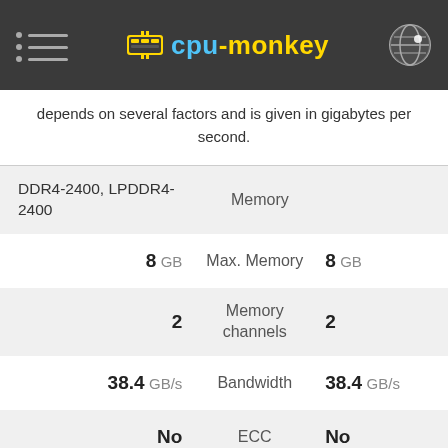cpu-monkey
depends on several factors and is given in gigabytes per second.
| Value 1 | Spec | Value 2 |
| --- | --- | --- |
| DDR4-2400, LPDDR4-2400 | Memory |  |
| 8 GB | Max. Memory | 8 GB |
| 2 | Memory channels | 2 |
| 38.4 GB/s | Bandwidth | 38.4 GB/s |
| No | ECC | No |
|  | L2 Cache |  |